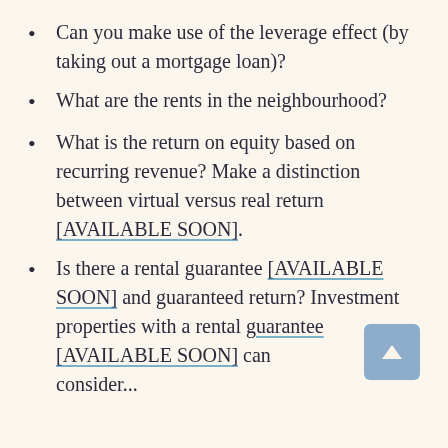Can you make use of the leverage effect (by taking out a mortgage loan)?
What are the rents in the neighbourhood?
What is the return on equity based on recurring revenue? Make a distinction between virtual versus real return [AVAILABLE SOON].
Is there a rental guarantee [AVAILABLE SOON] and guaranteed return? Investment properties with a rental guarantee [AVAILABLE SOON] can consider…